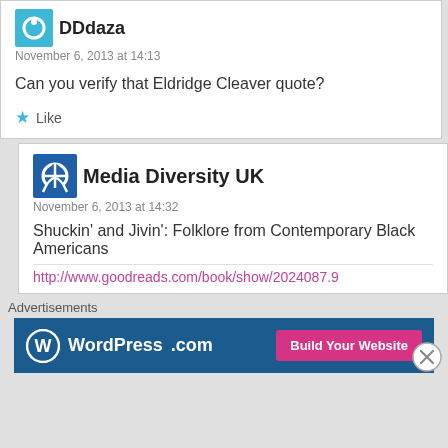DDdaza
November 6, 2013 at 14:13
Can you verify that Eldridge Cleaver quote?
Like
Media Diversity UK
November 6, 2013 at 14:32
Shuckin' and Jivin': Folklore from Contemporary Black Americans
http://www.goodreads.com/book/show/2024087.9
Advertisements
[Figure (screenshot): WordPress.com advertisement banner with Build Your Website button]